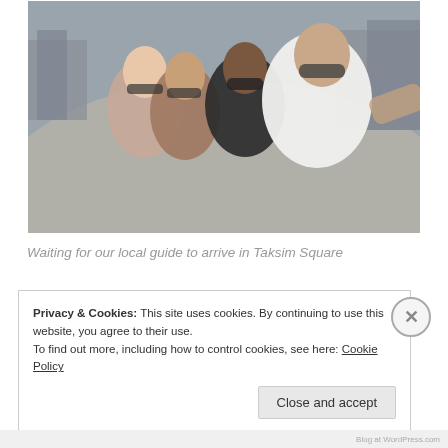[Figure (photo): Four young women taking a selfie in Taksim Square, Istanbul. Wide-angle fisheye lens shot showing a large open plaza. The women are wearing sunglasses and smiling at the camera.]
Waiting for our local guide to arrive in Taksim Square
Privacy & Cookies: This site uses cookies. By continuing to use this website, you agree to their use.
To find out more, including how to control cookies, see here: Cookie Policy